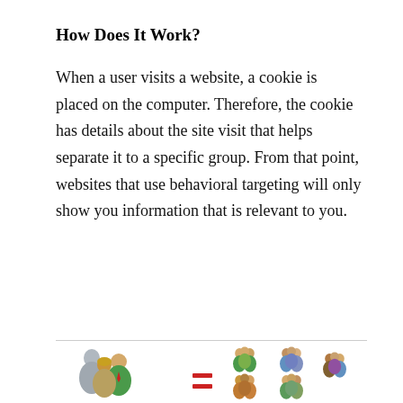How Does It Work?
When a user visits a website, a cookie is placed on the computer. Therefore, the cookie has details about the site visit that helps separate it to a specific group. From that point, websites that use behavioral targeting will only show you information that is relevant to you.
[Figure (illustration): Illustration showing groups of people icons on the left connected by an equals sign to multiple smaller groups of people icons on the right, representing behavioral targeting segmentation]